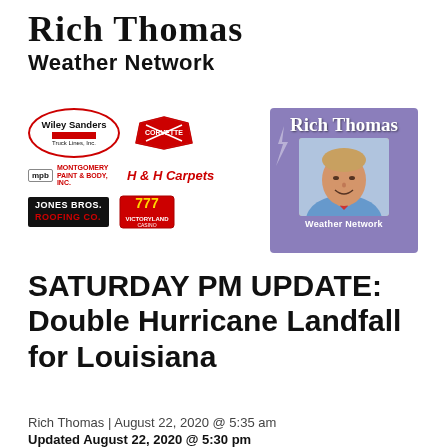Rich Thomas
Weather Network
[Figure (logo): Sponsor logos: Wiley Sanders Truck Lines Inc, Corvette/Chevrolet logo, Montgomery Paint & Body Inc (mpb), H & H Carpets, Jones Bros Roofing Co, 777 Victoryland Casino, plus Rich Thomas Weather Network photo card with purple background showing Rich Thomas smiling in blue shirt and tie]
SATURDAY PM UPDATE: Double Hurricane Landfall for Louisiana
Rich Thomas | August 22, 2020 @ 5:35 am
Updated August 22, 2020 @ 5:30 pm